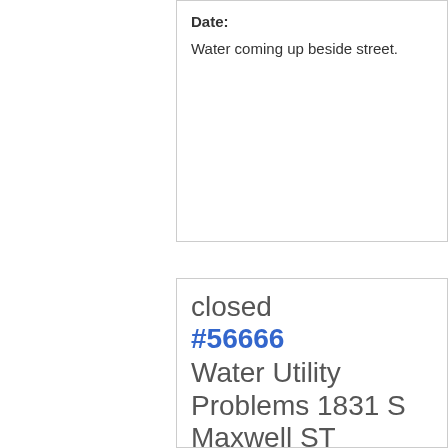Date:
Water coming up beside street.
closed #56666 Water Utility Problems 1831 S Maxwell ST
Case Date: 9/20/
WATER MAIN BREAK, AFTER